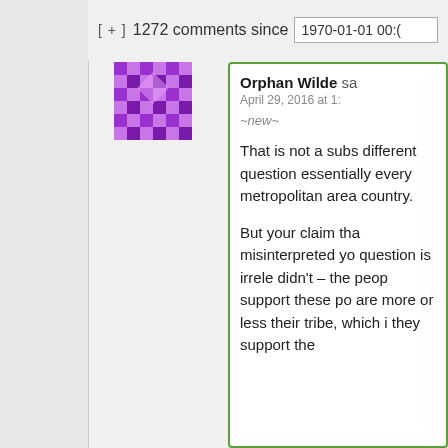[ + ]  1272 comments since  1970-01-01 00:(
[Figure (illustration): Purple decorative geometric avatar/icon with a diamond/quilt pattern]
Orphan Wilde said
April 29, 2016 at 1:
~new~
That is not a subs different question essentially every metropolitan area country.

But your claim tha misinterpreted yo question is irrele didn't – the peop support these po are more or less their tribe, which they support the